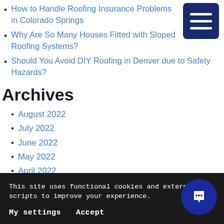How to Handle Roofing Insurance Problems in Colorado Springs
Why Are So Many Houses Fitted with Sloped Roofing Systems?
Should You Avoid DIY Roofing in Denver due to Safety Hazards?
Archives
August 2022
July 2022
June 2022
May 2022
April 2022
March 2022
February 2022
January 2022
December 2021
This site uses functional cookies and external scripts to improve your experience.
My settings    Accept
July 2021